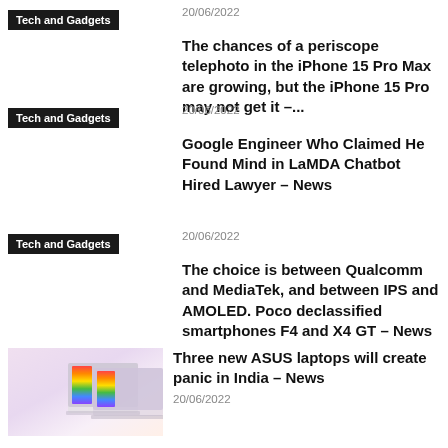Tech and Gadgets
20/06/2022
The chances of a periscope telephoto in the iPhone 15 Pro Max are growing, but the iPhone 15 Pro may not get it –...
Tech and Gadgets
20/06/2022
Google Engineer Who Claimed He Found Mind in LaMDA Chatbot Hired Lawyer – News
Tech and Gadgets
20/06/2022
The choice is between Qualcomm and MediaTek, and between IPS and AMOLED. Poco declassified smartphones F4 and X4 GT – News
Tech and Gadgets
20/06/2022
[Figure (photo): ASUS laptops product photo with colorful rainbow design]
Three new ASUS laptops will create panic in India – News
20/06/2022